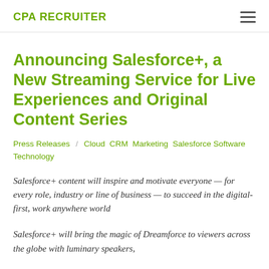CPA RECRUITER
Announcing Salesforce+, a New Streaming Service for Live Experiences and Original Content Series
Press Releases / Cloud CRM Marketing Salesforce Software Technology
Salesforce+ content will inspire and motivate everyone — for every role, industry or line of business — to succeed in the digital-first, work anywhere world
Salesforce+ will bring the magic of Dreamforce to viewers across the globe with luminary speakers,